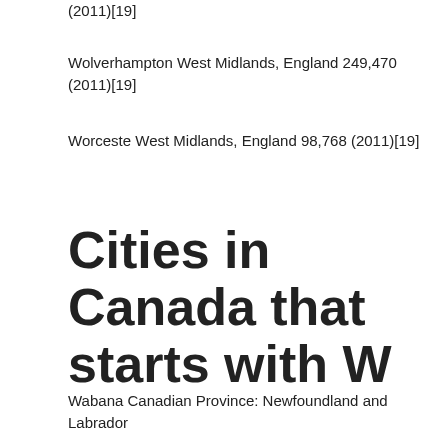(2011)[19]
Wolverhampton West Midlands, England 249,470 (2011)[19]
Worceste West Midlands, England 98,768 (2011)[19]
Cities in Canada that starts with W
Wabana Canadian Province: Newfoundland and Labrador